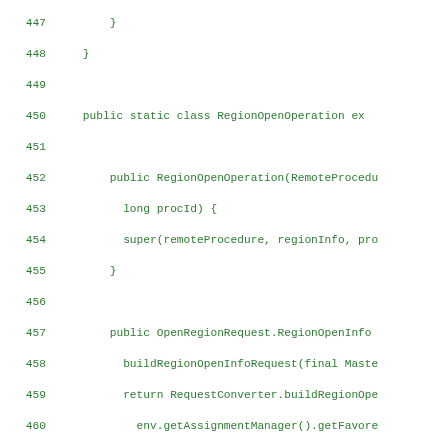[Figure (screenshot): Source code listing in Java showing RegionOpenOperation and RegionCloseOperation static inner classes, lines 447-475, displayed in green monospace font on white background.]